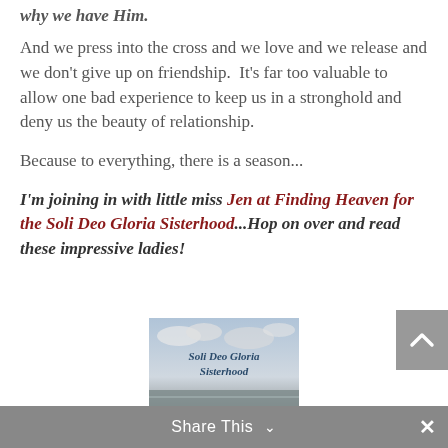why we have Him.
And we press into the cross and we love and we release and we don't give up on friendship.  It's far too valuable to allow one bad experience to keep us in a stronghold and deny us the beauty of relationship.
Because to everything, there is a season...
I'm joining in with little miss Jen at Finding Heaven for the Soli Deo Gloria Sisterhood...Hop on over and read these impressive ladies!
[Figure (photo): Soli Deo Gloria Sisterhood banner image with cloudy sky and beach scene, with handwritten-style text reading 'Soli Deo Gloria Sisterhood']
Share This ∨   ×